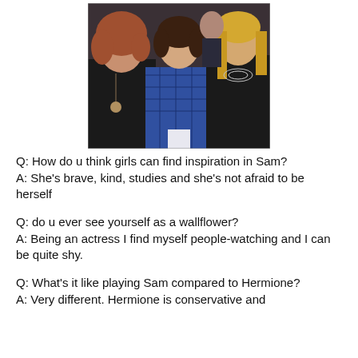[Figure (photo): Group photo of three women posing together. The woman on the left has curly reddish-brown hair and wears a black top with a long necklace. The woman in the center wears a blue plaid blazer. The woman on the right has straight blonde hair and wears a black sleeveless top with a statement necklace. A fourth person is partially visible in the background.]
Q: How do u think girls can find inspiration in Sam?
A: She's brave, kind, studies and she's not afraid to be herself
Q: do u ever see yourself as a wallflower?
A: Being an actress I find myself people-watching and I can be quite shy.
Q: What's it like playing Sam compared to Hermione?
A: Very different. Hermione is conservative and